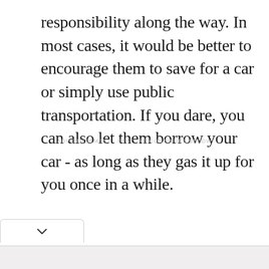responsibility along the way. In most cases, it would be better to encourage them to save for a car or simply use public transportation. If you dare, you can also let them borrow your car - as long as they gas it up for you once in a while.
ADVERTISEMENT · FEATURE CONTINUES BELOW